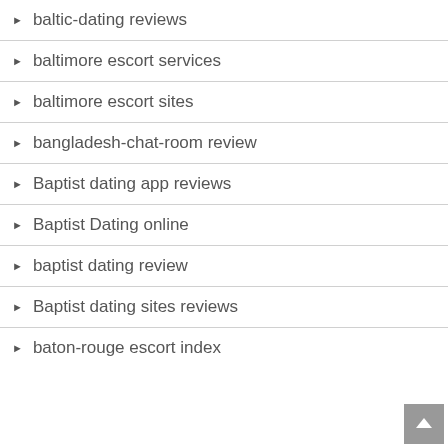baltic-dating reviews
baltimore escort services
baltimore escort sites
bangladesh-chat-room review
Baptist dating app reviews
Baptist Dating online
baptist dating review
Baptist dating sites reviews
baton-rouge escort index